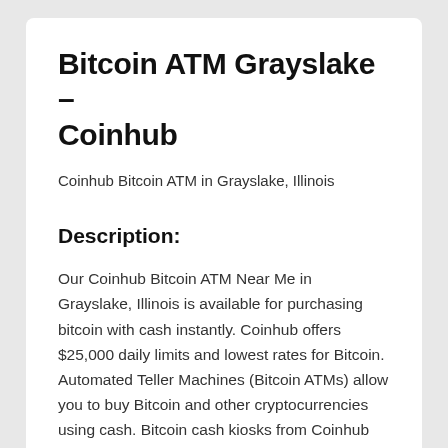Bitcoin ATM Grayslake – Coinhub
Coinhub Bitcoin ATM in Grayslake, Illinois
Description:
Our Coinhub Bitcoin ATM Near Me in Grayslake, Illinois is available for purchasing bitcoin with cash instantly. Coinhub offers $25,000 daily limits and lowest rates for Bitcoin. Automated Teller Machines (Bitcoin ATMs) allow you to buy Bitcoin and other cryptocurrencies using cash. Bitcoin cash kiosks from Coinhub are a convenient and fast way to purchase Bitcoin and receive it in minutes directly into your wallet. Coinhub Bitcoin machines are easy to use and allow buying at